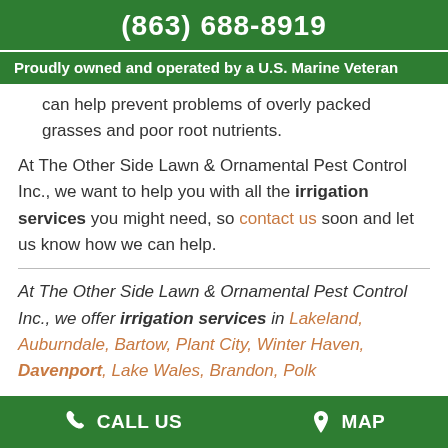(863) 688-8919
Proudly owned and operated by a U.S. Marine Veteran
can help prevent problems of overly packed grasses and poor root nutrients.
At The Other Side Lawn & Ornamental Pest Control Inc., we want to help you with all the irrigation services you might need, so contact us soon and let us know how we can help.
At The Other Side Lawn & Ornamental Pest Control Inc., we offer irrigation services in Lakeland, Auburndale, Bartow, Plant City, Winter Haven, Davenport, Lake Wales, Brandon, Polk
CALL US   MAP